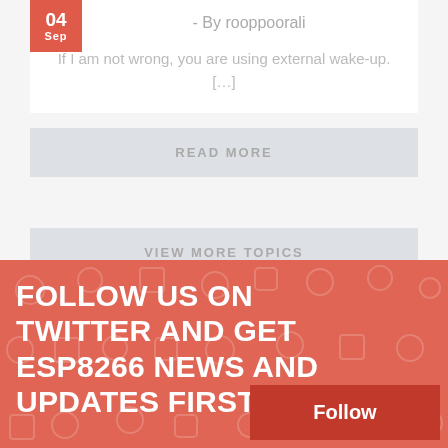- By rooppoorali
If I am not wrong, you are using external wake-up.[…]
READ MORE
VIEW MORE TOPICS
FOLLOW US ON TWITTER AND GET ESP8266 NEWS AND UPDATES FIRST.
Follow